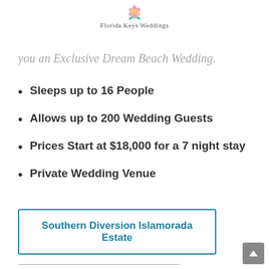Florida Keys Weddings
you an Exclusive Dream Beach Wedding.
Sleeps up to 16 People
Allows up to 200 Wedding Guests
Prices Start at $18,000 for a 7 night stay
Private Wedding Venue
Southern Diversion Islamorada Estate